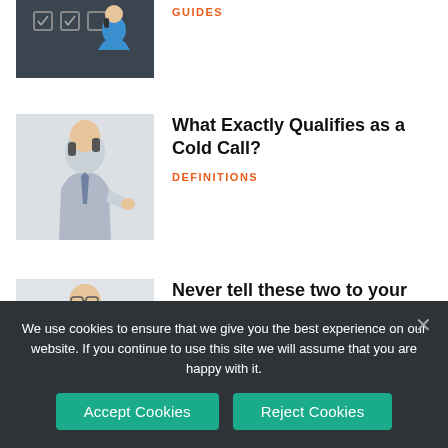[Figure (photo): Partial top image of a woman on a phone, dark background with icons]
GUIDES
[Figure (photo): Man in business attire talking on a telephone, looking stressed]
What Exactly Qualifies as a Cold Call?
DEFINITIONS
[Figure (photo): Man in suit gesturing emphatically, looking annoyed]
Never tell these two to your customer, NEVER!
GUIDES
We use cookies to ensure that we give you the best experience on our website. If you continue to use this site we will assume that you are happy with it.
Accept Cookies
Reject Cookies